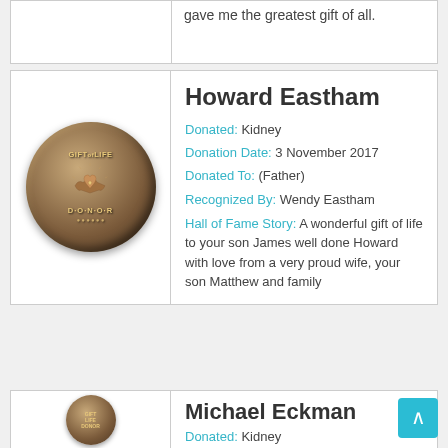gave me the greatest gift of all.
[Figure (photo): Bronze Gift-of-Life Donor medallion coin with heart and hands design]
Howard Eastham
Donated: Kidney
Donation Date: 3 November 2017
Donated To: (Father)
Recognized By: Wendy Eastham
Hall of Fame Story: A wonderful gift of life to your son James well done Howard with love from a very proud wife, your son Matthew and family
[Figure (photo): Bronze Gift-of-Life Donor medallion coin with heart and hands design]
Michael Eckman
Donated: Kidney